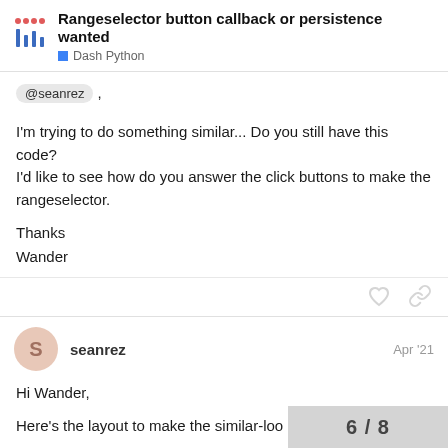Rangeselector button callback or persistence wanted | Dash Python
@seanrez ,
I'm trying to do something similar... Do you still have this code?
I'd like to see how do you answer the click buttons to make the rangeselector.

Thanks
Wander
seanrez  Apr '21
Hi Wander,
Here's the layout to make the similar-loo
6 / 8